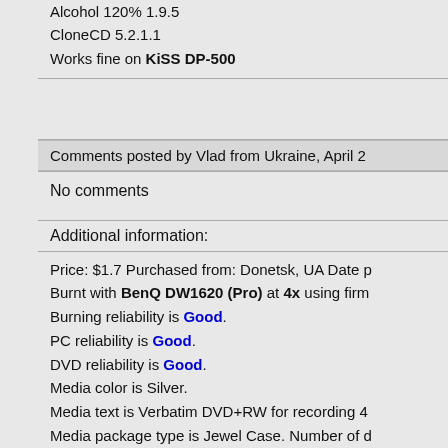Alcohol 120% 1.9.5
CloneCD 5.2.1.1
Works fine on KiSS DP-500
Comments posted by Vlad from Ukraine, April 2...
No comments
Additional information:
Price: $1.7 Purchased from: Donetsk, UA Date p...
Burnt with BenQ DW1620 (Pro) at 4x using firm...
Burning reliability is Good.
PC reliability is Good.
DVD reliability is Good.
Media color is Silver.
Media text is Verbatim DVD+RW for recording 4...
Media package type is Jewel Case. Number of d...
Authoring/Burning comments: